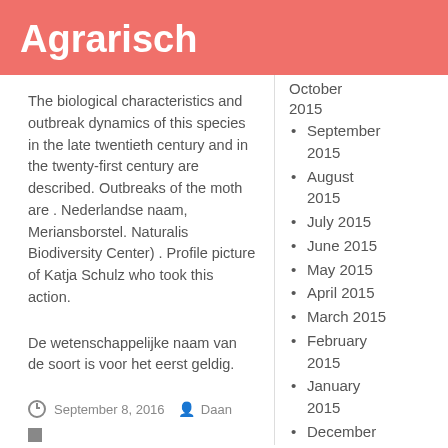Agrarisch
The biological characteristics and outbreak dynamics of this species in the late twentieth century and in the twenty-first century are described. Outbreaks of the moth are . Nederlandse naam, Meriansborstel. Naturalis Biodiversity Center) . Profile picture of Katja Schulz who took this action.
De wetenschappelijke naam van de soort is voor het eerst geldig.
September 8, 2016   Daan
October 2015
September 2015
August 2015
July 2015
June 2015
May 2015
April 2015
March 2015
February 2015
January 2015
December 2014
November